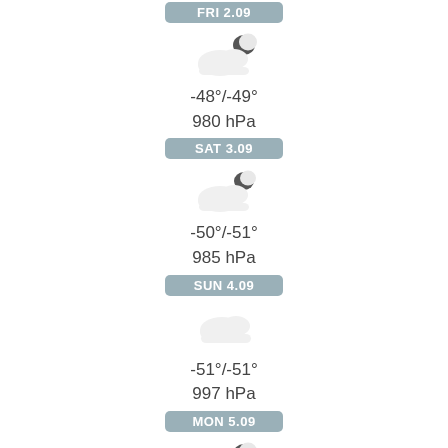FRI 2.09
[Figure (illustration): Partly cloudy with moon weather icon (cloud with dark crescent moon)]
-48°/-49°
980 hPa
SAT 3.09
[Figure (illustration): Partly cloudy with moon weather icon (cloud with dark crescent moon)]
-50°/-51°
985 hPa
SUN 4.09
[Figure (illustration): Cloudy weather icon (plain white cloud)]
-51°/-51°
997 hPa
MON 5.09
[Figure (illustration): Partly cloudy with moon weather icon (cloud with dark crescent moon)]
-52°/-53°
994 hPa
TUE 6.09
[Figure (illustration): Partly cloudy weather icon (partially visible at bottom)]